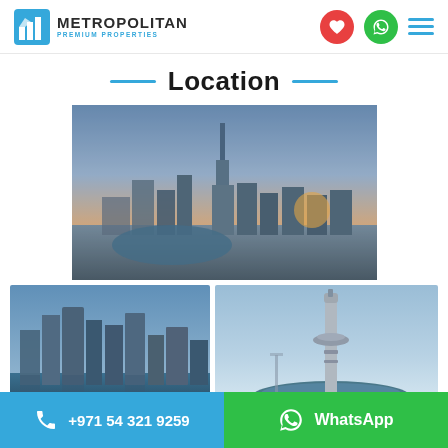Metropolitan Premium Properties
Location
[Figure (photo): Aerial view of Dubai skyline with Burj Khalifa at sunset]
[Figure (photo): Dubai Business Bay skyline with waterfront]
[Figure (photo): Dubai landmark tower structure at dusk]
+971 54 321 9259 | WhatsApp